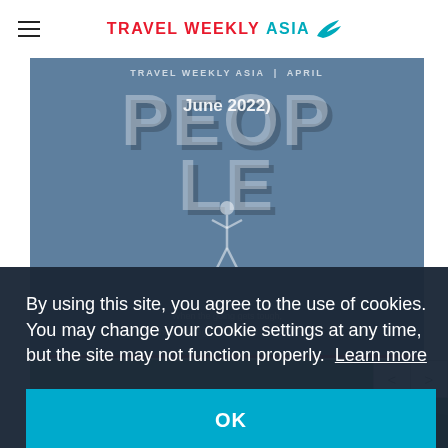Travel Weekly Asia
[Figure (illustration): Magazine cover for Travel Weekly Asia People issue, April/June 2022, with tagline 'When the going gets tough, the tough agents in travel get going', blue-grey background with stylized 3D PEOPLE text]
[Figure (photo): Partial bottom image showing green outdoor scene]
By using this site, you agree to the use of cookies. You may change your cookie settings at any time, but the site may not function properly. Learn more
OK